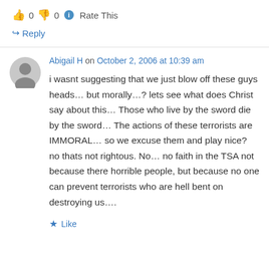👍 0 👎 0 ℹ Rate This
↪ Reply
Abigail H on October 2, 2006 at 10:39 am
i wasnt suggesting that we just blow off these guys heads… but morally…? lets see what does Christ say about this… Those who live by the sword die by the sword… The actions of these terrorists are IMMORAL… so we excuse them and play nice? no thats not rightous. No… no faith in the TSA not because there horrible people, but because no one can prevent terrorists who are hell bent on destroying us….
★ Like